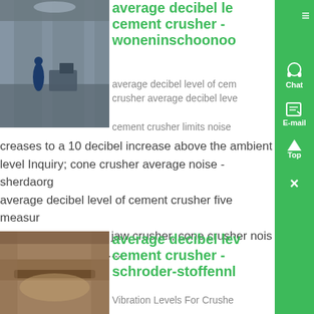[Figure (photo): Industrial facility interior with machinery and workers]
average decibel level of cement crusher - woneninschoonoord
average decibel level of cement crusher average decibel level cement crusher limits noise
creases to a 10 decibel increase above the ambient level Inquiry; cone crusher average noise - sherdaorg average decibel level of cement crusher five measures to control ball mill noise, jaw crusher, cone crusher noise equivalent level (cnel ....
[Figure (photo): Cement crusher or mill machinery up close]
average decibel level of cement crusher - schroder-stoffennl
Vibration Levels For Crusher